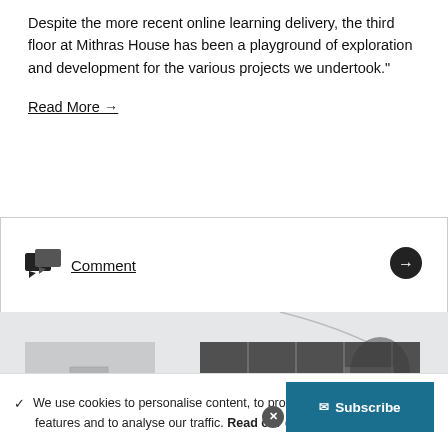Despite the more recent online learning delivery, the third floor at Mithras House has been a playground of exploration and development for the various projects we undertook."
Read More →
Comment
[Figure (photo): Black and white architectural photograph showing a building facade with glass panels, geometric diamond patterns, and structural elements. Appears to be an exterior or interior view of a modern building.]
We use cookies to personalise content, to provide social media features and to analyse our traffic. Read our detailed co... Subscribe